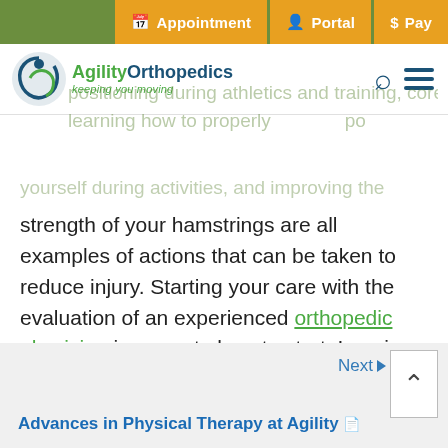Appointment | Portal | Pay
[Figure (logo): Agility Orthopedics logo with tagline 'keeping you moving']
positioning during athletics and training, core learning how to properly position yourself during activities, and improving the strength of your hamstrings are all examples of actions that can be taken to reduce injury. Starting your care with the evaluation of an experienced orthopedic physician is a great place to start. I am in hopes that you will never need and ACL surgery, but if you do, the team at Agility Orthopedics can provide you with the care you need.
Next
Advances in Physical Therapy at Agility